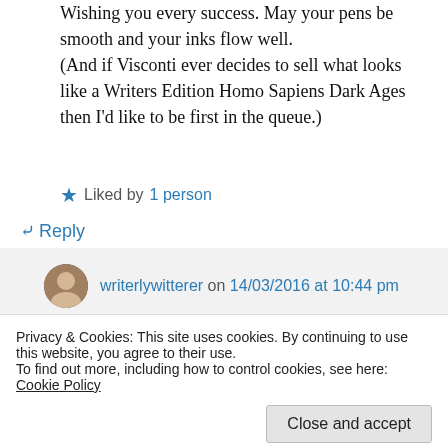Wishing you every success. May your pens be smooth and your inks flow well. (And if Visconti ever decides to sell what looks like a Writers Edition Homo Sapiens Dark Ages then I'd like to be first in the queue.)
Liked by 1 person
Reply
writerlywitterer on 14/03/2016 at 10:44 pm
Privacy & Cookies: This site uses cookies. By continuing to use this website, you agree to their use.
To find out more, including how to control cookies, see here: Cookie Policy
Close and accept
Reply